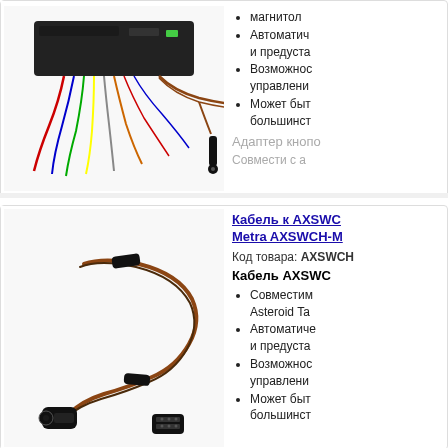[Figure (photo): Car audio wiring harness adapter with multiple colored wires and connectors]
магнитол
Автоматич и предуста
Возможнос управлени
Может быт большинст
Адаптер кнопо
Совмести с а
[Figure (photo): Short cable for AXSWCH Metra adapter with audio jack and connector ends]
Кабель к AXSWC Metra AXSWCH-M
Код товара: AXSWCH
Кабель AXSWC
Совместим Asteroid Ta
Автоматиче и предуста
Возможнос управлени
Может быт большинст